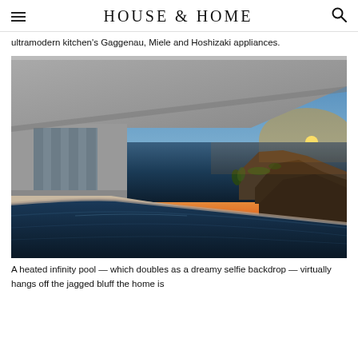HOUSE & HOME
ultramodern kitchen's Gaggenau, Miele and Hoshizaki appliances.
[Figure (photo): Infinity pool extending to the ocean at sunset, with a modern concrete home structure on the left and rocky coastal cliffs on the right. The sky transitions from blue to warm orange and pink near the horizon.]
A heated infinity pool — which doubles as a dreamy selfie backdrop — virtually hangs off the jagged bluff the home is